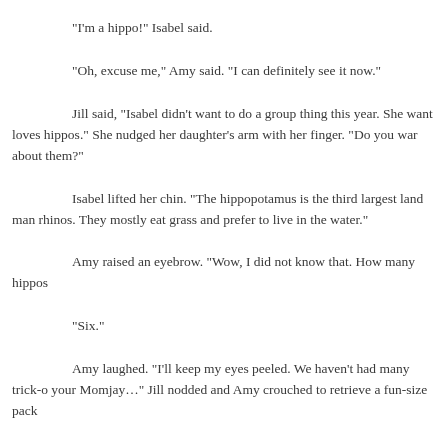“I’m a hippo!” Isabel said.
“Oh, excuse me,” Amy said. “I can definitely see it now.”
Jill said, “Isabel didn’t want to do a group thing this year. She wants loves hippos.” She nudged her daughter’s arm with her finger. “Do you want about them?”
Isabel lifted her chin. “The hippopotamus is the third largest land man rhinos. They mostly eat grass and prefer to live in the water.”
Amy raised an eyebrow. “Wow, I did not know that. How many hippos
“Six.”
Amy laughed. “I’ll keep my eyes peeled. We haven’t had many trick-o your Momjay…” Jill nodded and Amy crouched to retrieve a fun-size pack